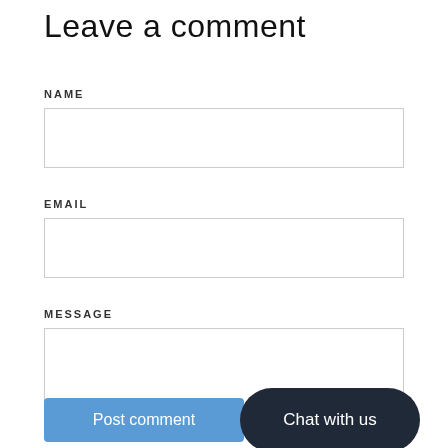Leave a comment
NAME
[Figure (other): Name input text field, empty, with border]
EMAIL
[Figure (other): Email input text field, empty, with border]
MESSAGE
[Figure (other): Message textarea, empty, with border and resize handle]
Post comment
Chat with us